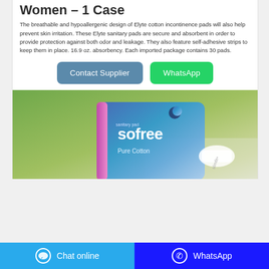Women – 1 Case
The breathable and hypoallergenic design of Elyte cotton incontinence pads will also help prevent skin irritation. These Elyte sanitary pads are secure and absorbent in order to provide protection against both odor and leakage. They also feature self-adhesive strips to keep them in place. 16.9 oz. absorbency. Each imported package contains 30 pads.
[Figure (other): Two action buttons: 'Contact Supplier' (blue) and 'WhatsApp' (green)]
[Figure (photo): Product photo of Sofree sanitary pads Pure Cotton package against a green background]
Chat online    WhatsApp